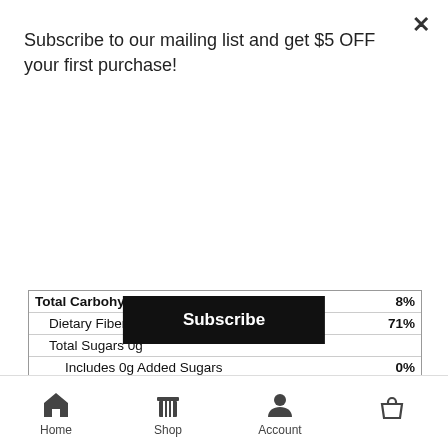Subscribe to our mailing list and get $5 OFF your first purchase!
Subscribe
|  |  |
| --- | --- |
| Total Carbohydrate 22g | 8% |
| Dietary Fiber 20g | 71% |
| Total Sugars 0g |  |
| Includes 0g Added Sugars | 0% |
| Protein 6g | 12% |
| Vitamin D 0mcg | 0% |
| Calcium 13mg | 0% |
| Iron 0.36mg | 2% |
| Potassium 0mg | 0% |
*The % Daily Value (DV) tells you how much a nutrient in a serving of food contributes to a daily diet. 2,000 calories a day is used for general nutrition advice.
Stone Ground Whole Wheat Flo...
Home  Shop  Account